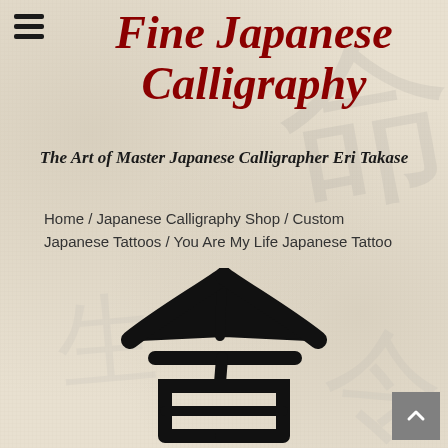Fine Japanese Calligraphy
Fine Japanese Calligraphy
The Art of Master Japanese Calligrapher Eri Takase
Home / Japanese Calligraphy Shop / Custom Japanese Tattoos / You Are My Life Japanese Tattoo
[Figure (illustration): Japanese kanji calligraphy character (命 - life/fate) painted in black ink brush style on textured paper background, partially visible at bottom of page. Background shows faint gray brushwork of additional kanji characters.]